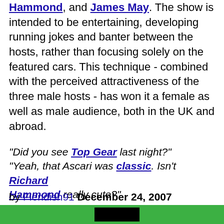Hammond, and James May. The show is intended to be entertaining, developing running jokes and banter between the hosts, rather than focusing solely on the featured cars. This technique - combined with the perceived attractiveness of the three male hosts - has won it a female as well as male audience, both in the UK and abroad.
"Did you see Top Gear last night?" "Yeah, that Ascari was classic. Isn't Richard Hammond really cute?"
by Fiendish91 December 24, 2007
[Figure (other): Voting buttons showing thumbs up 232, thumbs down 41, and a FLAG button]
[Figure (other): Green footer bar with Urban Dictionary branding]